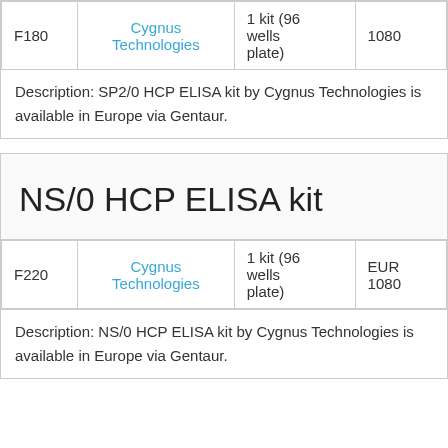| Cat. | Supplier | Qty | Price |
| --- | --- | --- | --- |
| F180 | Cygnus Technologies | 1 kit (96 wells plate) | 1080 |
Description: SP2/0 HCP ELISA kit by Cygnus Technologies is available in Europe via Gentaur.
NS/0 HCP ELISA kit
| Cat. | Supplier | Qty | Price |
| --- | --- | --- | --- |
| F220 | Cygnus Technologies | 1 kit (96 wells plate) | EUR 1080 |
Description: NS/0 HCP ELISA kit by Cygnus Technologies is available in Europe via Gentaur.